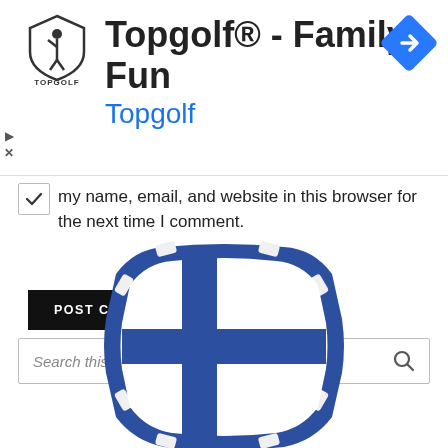[Figure (logo): Topgolf advertisement banner with Topgolf shield logo, text 'Topgolf® - Family Fun' and 'Topgolf' in blue, navigation icon (blue diamond with arrow) in top right, play and X buttons on left side]
my name, email, and website in this browser for the next time I comment.
POST COMMENT
Search this website
[Figure (illustration): Blue hexagonal poker chip/badge with Finland flag design (white background with blue Nordic cross pattern)]